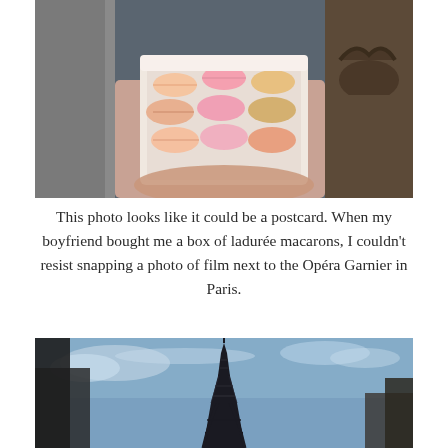[Figure (photo): A hand holding a pink box of Ladurée macarons in front of classical Parisian architecture]
This photo looks like it could be a postcard. When my boyfriend bought me a box of ladurée macarons, I couldn't resist snapping a photo of film next to the Opéra Garnier in Paris.
[Figure (photo): The Eiffel Tower against a blue sky with clouds, viewed from a low angle between dark buildings]